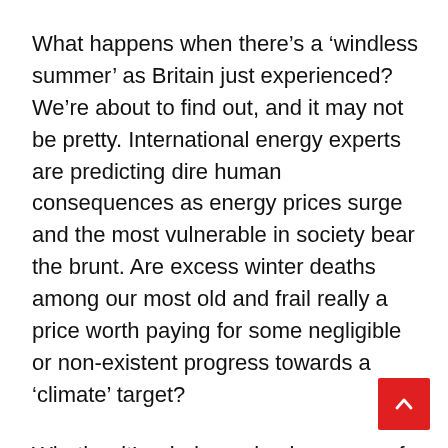What happens when there’s a ‘windless summer’ as Britain just experienced? We’re about to find out, and it may not be pretty. International energy experts are predicting dire human consequences as energy prices surge and the most vulnerable in society bear the brunt. Are excess winter deaths among our most old and frail really a price worth paying for some negligible or non-existent progress towards a ‘climate’ target?
Whether it’s wind or solar, in an age of supposed technological progress and ever-increasing prosperity, why on earth are we making ourselves more dependent on energy sources that are less dependable?